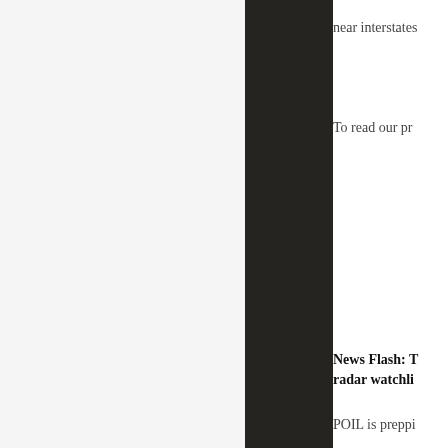near interstates
To read our pr
News Flash: T radar watchli
POIL is preppi